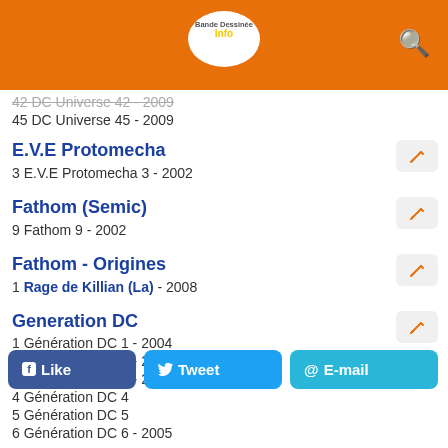Bande Dessinée Info
42 DC Universe 42 - 2009
45 DC Universe 45 - 2009
E.V.E Protomecha
3 E.V.E Protomecha 3 - 2002
Fathom (Semic)
9 Fathom 9 - 2002
Fathom - Origines
1 Rage de Killian (La) - 2008
Generation DC
1 Génération DC 1 - 2004
2 Génération DC 2 - 2004
3 Génération DC 3 - 2004
4 Génération DC 4
5 Génération DC 5
6 Génération DC 6 - 2005